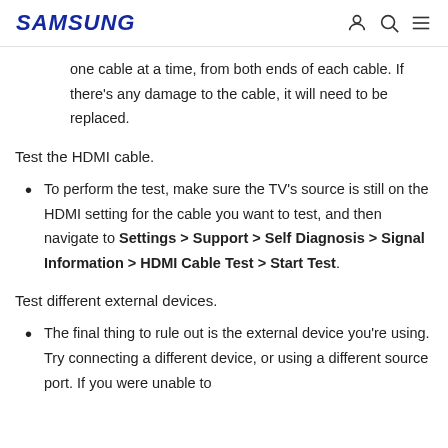SAMSUNG
one cable at a time, from both ends of each cable. If there's any damage to the cable, it will need to be replaced.
Test the HDMI cable.
To perform the test, make sure the TV's source is still on the HDMI setting for the cable you want to test, and then navigate to Settings > Support > Self Diagnosis > Signal Information > HDMI Cable Test > Start Test.
Test different external devices.
The final thing to rule out is the external device you're using. Try connecting a different device, or using a different source port. If you were unable to